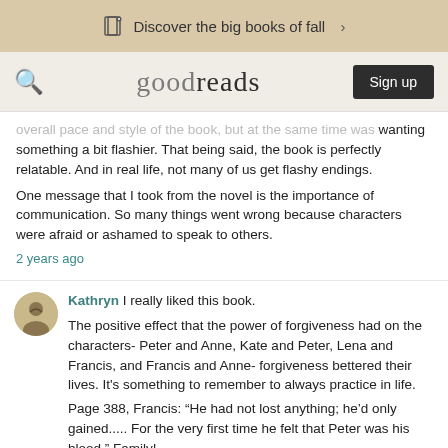Discover the big books of fall >
goodreads  Sign up
overall pace and style of the book, but at the same time was wanting something a bit flashier. That being said, the book is perfectly relatable. And in real life, not many of us get flashy endings.
One message that I took from the novel is the importance of communication. So many things went wrong because characters were afraid or ashamed to speak to others.
2 years ago
Kathryn I really liked this book.
The positive effect that the power of forgiveness had on the characters- Peter and Anne, Kate and Peter, Lena and Francis, and Francis and Anne- forgiveness bettered their lives. It's something to remember to always practice in life.
Page 388, Francis: “He had not lost anything; he’d only gained..... For the very first time he felt that Peter was his blood.” Family!
I'd rate this a 4.5 star read.